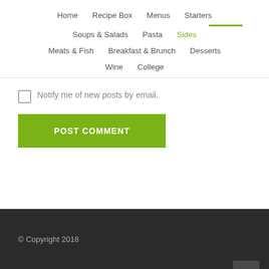Home  Recipe Box  Menus  Starters  Soups & Salads  Pasta  Sides  Meats & Fish  Breakfast & Brunch  Desserts  Wine  College
Notify me of new posts by email.
POST COMMENT
© Copyright 2018